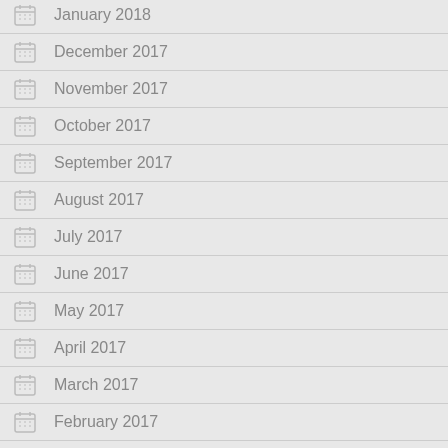January 2018
December 2017
November 2017
October 2017
September 2017
August 2017
July 2017
June 2017
May 2017
April 2017
March 2017
February 2017